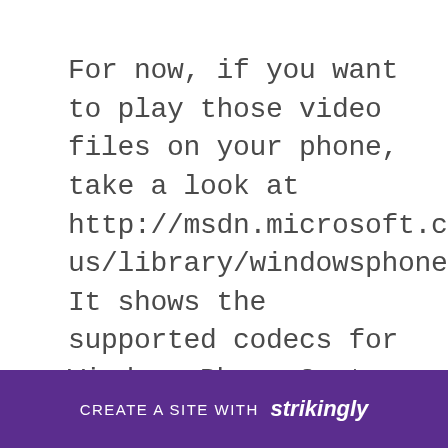For now, if you want to play those video files on your phone, take a look at http://msdn.microsoft.com/en-us/library/windowsphone/develop/ff462087(v=vs.105).aspx. It shows the supported codecs for Windows Phone 8 at the moment, so to play those unsupported video files you have to convert them to supported video files.. Nokia has tackled the major criticisms of its Lumia 920 with the launch of its thin, ... In recent months, we&#39;ve seen the launch ... he ... It...
[Figure (other): Purple banner overlay at the bottom reading 'CREATE A SITE WITH strikingly' in white text on a purple/violet background (#5b2d8e).]